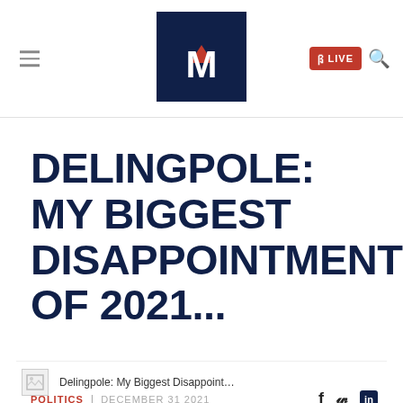Mediaite logo with LIVE button and navigation
DELINGPOLE: MY BIGGEST DISAPPOINTMENTS OF 2021...
POLITICS | DECEMBER 31 2021
[Figure (screenshot): Bottom bar with broken image thumbnail and article title text: Delingpole: My Biggest Disappoint...]